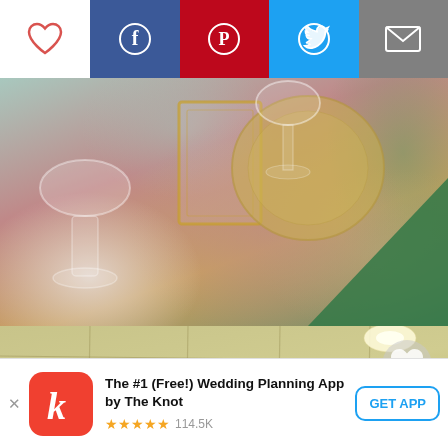[Figure (screenshot): Social sharing toolbar with heart/like, Facebook, Pinterest, Twitter, and email icons]
[Figure (photo): Blurred close-up photo of an elegant table setting with glassware, gold beaded charger plates, pink/mauve tablecloth, and green napkin]
[Figure (photo): Photo of a ceiling with white drop ceiling tiles and recessed lighting, with a gray heart/favorite icon overlay in top-right]
[Figure (infographic): App advertisement banner: The Knot wedding planning app. Shows red app icon with white 'k', title 'The #1 (Free!) Wedding Planning App by The Knot', 5-star rating with 114.5K reviews, and 'GET APP' button]